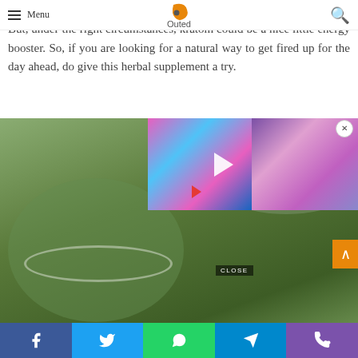Menu | [Logo: Outed] | [Search icon]
But, under the right circumstances, kratom could be a nice little energy booster. So, if you are looking for a natural way to get fired up for the day ahead, do give this herbal supplement a try.
[Figure (photo): Close-up photo of green kratom powder in a measuring scoop, with a video overlay showing colorful paint pouring and a close button]
Social share bar: Facebook, Twitter, WhatsApp, Telegram, Phone